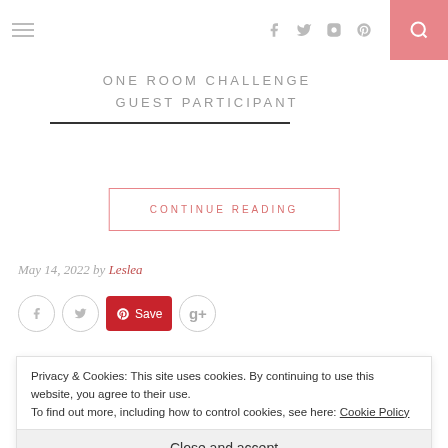ONE ROOM CHALLENGE GUEST PARTICIPANT
May 14, 2022 by Leslea
CONTINUE READING
Privacy & Cookies: This site uses cookies. By continuing to use this website, you agree to their use. To find out more, including how to control cookies, see here: Cookie Policy
Close and accept
BATHROOM DEMO CONTINUES —